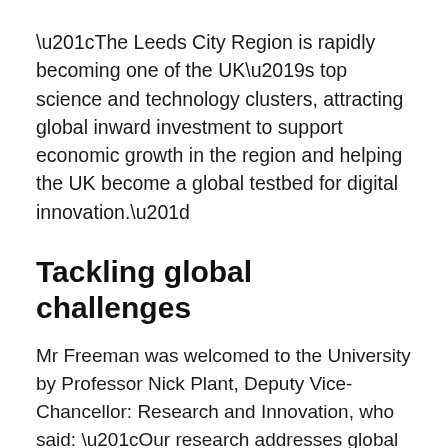“The Leeds City Region is rapidly becoming one of the UK’s top science and technology clusters, attracting global inward investment to support economic growth in the region and helping the UK become a global testbed for digital innovation.”
Tackling global challenges
Mr Freeman was welcomed to the University by Professor Nick Plant, Deputy Vice-Chancellor: Research and Innovation, who said: “Our research addresses global challenges, working in collaboration across the Leeds Innovation Partnership and beyond to make a positive impact on the world. We very much welcomed the